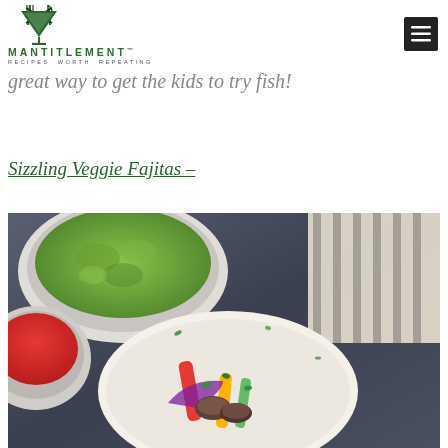MANTITLEMENT — RECIPES WORTH REPEATING
great way to get the kids to try fish!
Sizzling Veggie Fajitas –
[Figure (photo): A flour tortilla topped with sautéed colorful bell pepper strips, mushrooms, red onion, and green garnish on a dark slate surface, with a bowl of guacamole and a small bowl of red salsa in the background, and a striped cloth napkin.]